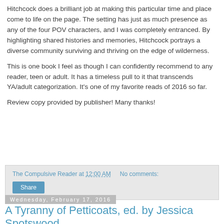Hitchcock does a brilliant job at making this particular time and place come to life on the page. The setting has just as much presence as any of the four POV characters, and I was completely entranced. By highlighting shared histories and memories, Hitchcock portrays a diverse community surviving and thriving on the edge of wilderness.
This is one book I feel as though I can confidently recommend to any reader, teen or adult. It has a timeless pull to it that transcends YA/adult categorization. It's one of my favorite reads of 2016 so far.
Review copy provided by publisher! Many thanks!
The Compulsive Reader at 12:00 AM   No comments:
Share
Wednesday, February 17, 2016
A Tyranny of Petticoats, ed. by Jessica Spotswood